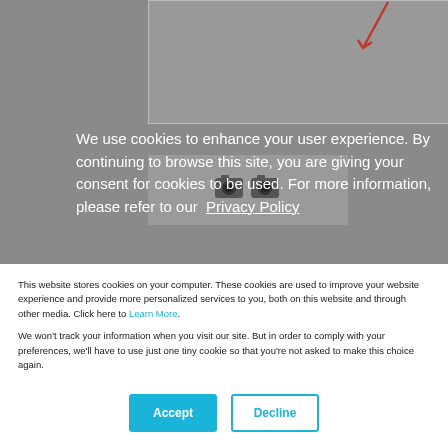[Figure (screenshot): Website screenshot showing a gray overlay with cookie consent banner. Top portion shows camera product images on gray background with a red diagonal arrow/line graphic in top right. An 'Overview' heading appears in dark blue at bottom left of the overlay area. A pink 'Ok' button bar is partially visible at the bottom of the overlay.]
We use cookies to enhance your user experience. By continuing to browse this site, you are giving your consent for cookies to be used. For more information, please refer to our Privacy Policy
Overview
This website stores cookies on your computer. These cookies are used to improve your website experience and provide more personalized services to you, both on this website and through other media. Click here to Learn More.
We won't track your information when you visit our site. But in order to comply with your preferences, we'll have to use just one tiny cookie so that you're not asked to make this choice again.
Accept
Decline